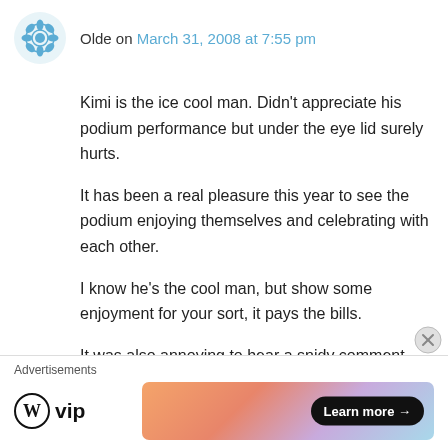Olde on March 31, 2008 at 7:55 pm
Kimi is the ice cool man. Didn’t appreciate his podium performance but under the eye lid surely hurts.
It has been a real pleasure this year to see the podium enjoying themselves and celebrating with each other.
I know he’s the cool man, but show some enjoyment for your sort, it pays the bills.
It was also annoying to hear a snidy comment about Kimi on a drinking weekend on ITV coverage.
How he relaxes is not the issue, how he races...
[Figure (other): Advertisement bar with WordPress VIP logo and a colorful banner with Learn more button]